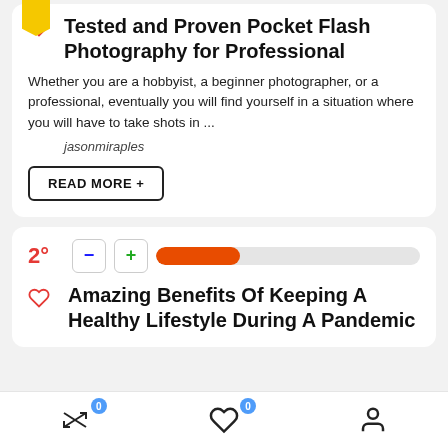Tested and Proven Pocket Flash Photography for Professional
Whether you are a hobbyist, a beginner photographer, or a professional, eventually you will find yourself in a situation where you will have to take shots in ...
jasonmiraples
READ MORE +
2°
Amazing Benefits Of Keeping A Healthy Lifestyle During A Pandemic
0  0